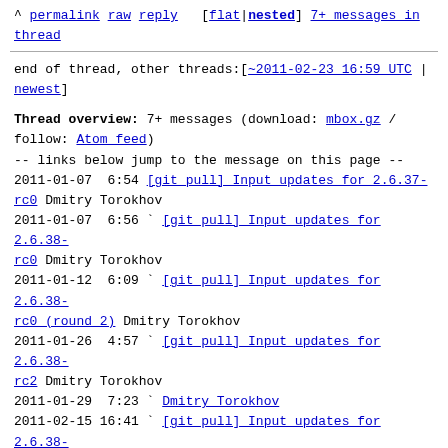^ permalink raw reply [flat|nested] 7+ messages in thread
end of thread, other threads:[~2011-02-23 16:59 UTC | newest]
Thread overview: 7+ messages (download: mbox.gz / follow: Atom feed)
-- links below jump to the message on this page --
2011-01-07  6:54 [git pull] Input updates for 2.6.37-rc0 Dmitry Torokhov
2011-01-07  6:56 ` [git pull] Input updates for 2.6.38-rc0 Dmitry Torokhov
2011-01-12  6:09 ` [git pull] Input updates for 2.6.38-rc0 (round 2) Dmitry Torokhov
2011-01-26  4:57 ` [git pull] Input updates for 2.6.38-rc2 Dmitry Torokhov
2011-01-29  7:23 ` Dmitry Torokhov
2011-02-15 16:41 ` [git pull] Input updates for 2.6.38-rc4 Dmitry Torokhov
2011-02-23 16:59 ` [git pull] Input updates for 2.6.38-rc6 Dmitry Torokhov
This is a public inbox, see mirroring instructions for how to clone and mirror all data and code used for this inbox; as well as URLs for NNTP newsgroup(s).